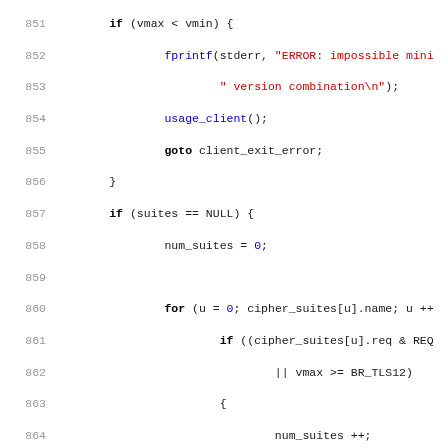[Figure (screenshot): Source code listing (C language) showing lines 851-882 of a TLS/SSL client implementation. Features syntax highlighting with blue keywords, red strings, dark function names. Shows control flow for version checking, cipher suite selection, hfuns and iobuf_len configuration.]